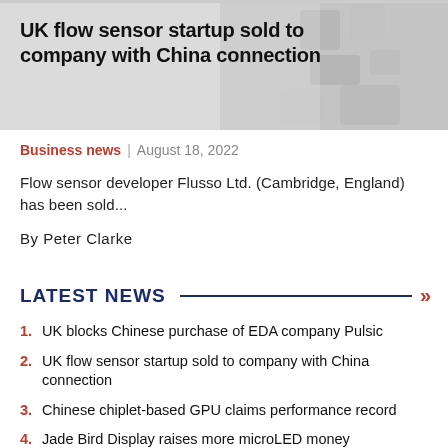[Figure (photo): Hero image with gray/light background showing electronic components, overlaid with article headline text.]
UK flow sensor startup sold to company with China connection
Business news | August 18, 2022
Flow sensor developer Flusso Ltd. (Cambridge, England) has been sold...
By Peter Clarke
LATEST NEWS
1. UK blocks Chinese purchase of EDA company Pulsic
2. UK flow sensor startup sold to company with China connection
3. Chinese chiplet-based GPU claims performance record
4. Jade Bird Display raises more microLED money
5. PMIC, analog, security IP cores down to 22nm